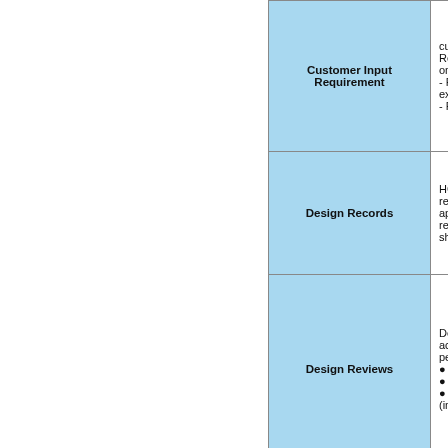| Category | Description |
| --- | --- |
| Customer Input Requirement | customer surve... Reliability and Q... on the following... - Prior model pr... expectations
- Programme ob... |
| Design Records | HCH will retain... received from c... approved drawi... relevant standa... should also be r... |
| Design Reviews | Design Reviews... activity and mus... personnel etc. T...
• A series of ve...
• An effective m...
• Provide a mec... (including the re... |
| Process/Design Change Request | It is possible tha... product, part or... drawing / standa... request a chang... |
| Design | The Design Ver... engineering eva... |